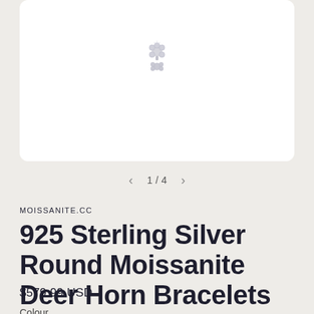[Figure (photo): Product image of a 925 sterling silver round moissanite deer horn bracelet on white background, showing a small sparkly jewelry piece]
1 / 4
MOISSANITE.CC
925 Sterling Silver Round Moissanite Deer Horn Bracelets
$579.99 USD
Colour